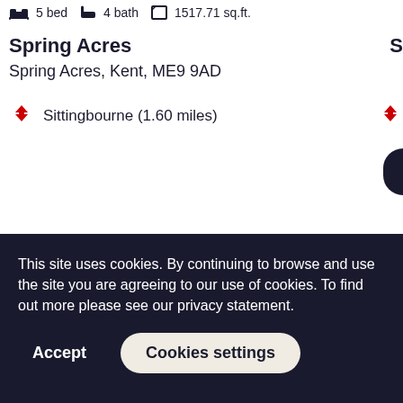5 bed  4 bath  1517.71 sq.ft.
Spring Acres
Spring Acres, Kent, ME9 9AD
Sittingbourne (1.60 miles)
View Home
This site uses cookies. By continuing to browse and use the site you are agreeing to our use of cookies. To find out more please see our privacy statement.
Accept
Cookies settings